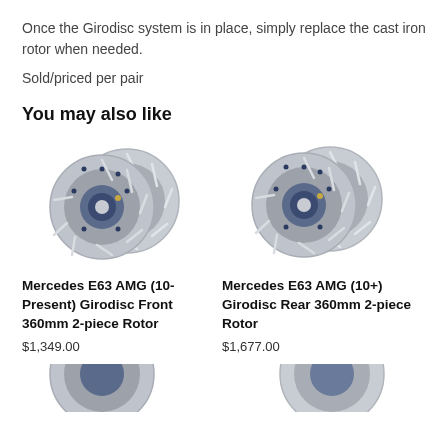Once the Girodisc system is in place, simply replace the cast iron rotor when needed.
Sold/priced per pair
You may also like
[Figure (photo): Two Girodisc 2-piece brake rotors for Mercedes E63 AMG (10-Present) Front 360mm]
Mercedes E63 AMG (10-Present) Girodisc Front 360mm 2-piece Rotor
$1,349.00
[Figure (photo): Two Girodisc 2-piece brake rotors for Mercedes E63 AMG (10+) Rear 360mm]
Mercedes E63 AMG (10+) Girodisc Rear 360mm 2-piece Rotor
$1,677.00
[Figure (photo): Partial view of Girodisc brake rotors at bottom left]
[Figure (photo): Partial view of Girodisc brake rotors at bottom right]